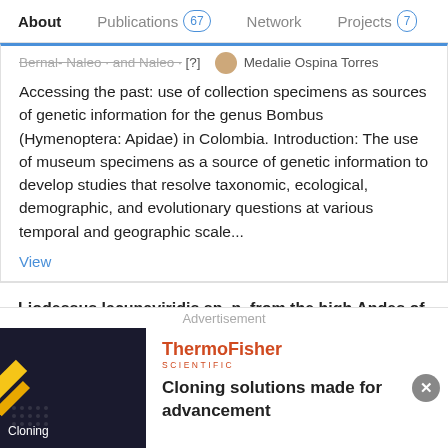About | Publications 67 | Network | Projects 7
Bernal-Naleo · and Naleo · [?] · Medalie Ospina Torres
Accessing the past: use of collection specimens as sources of genetic information for the genus Bombus (Hymenoptera: Apidae) in Colombia. Introduction: The use of museum specimens as a source of genetic information to develop studies that resolve taxonomic, ecological, demographic, and evolutionary questions at various temporal and geographic scale...
View
Liodessus lacunaviridis sp. n. from the high Andes of Colombia (Coleoptera: Dytiscidae: Hydroporinae: Bidessini)
Advertisement
[Figure (screenshot): ThermoFisher Scientific advertisement banner with dark background image showing cloning-related imagery and text 'Cloning solutions made for advancement']